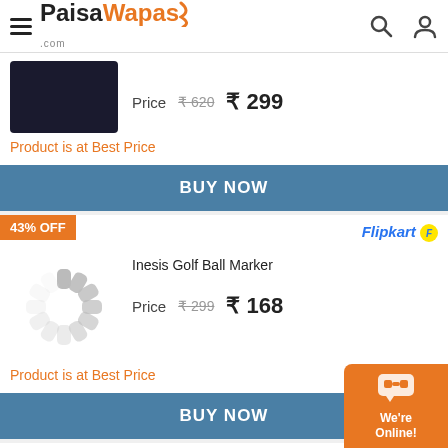PaisaWapas.com
Price  ₹ 620  ₹ 299
Product is at Best Price
BUY NOW
43% OFF
Flipkart
Inesis Golf Ball Marker
Price  ₹ 299  ₹ 168
Product is at Best Price
BUY NOW
We're Online!